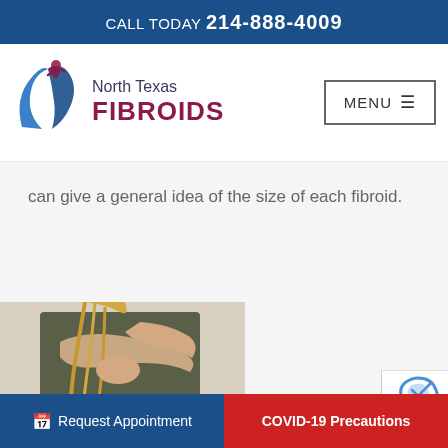CALL TODAY 214-888-4009
[Figure (logo): North Texas Fibroids logo with stylized figure and text]
MENU ☰
can give a general idea of the size of each fibroid.
[Figure (photo): Woman holding her side/abdomen, wearing dark shirt]
[Figure (other): reCAPTCHA widget partial]
📅 Request Appointment   COVID-19 Precautions